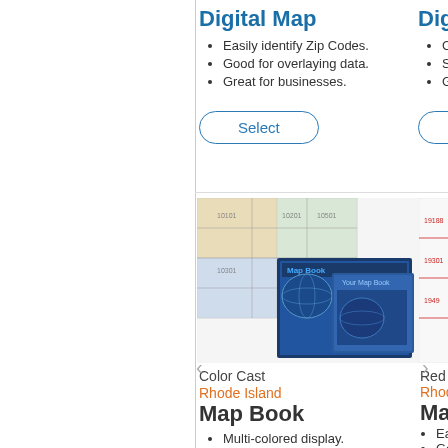Digital Map
Easily identify Zip Codes.
Good for overlaying data.
Great for businesses.
Select
Digital Map (partial)
Clear sa...
See land...
Great for...
Sele...
[Figure (illustration): Color Cast Rhode Island Map Book product image showing a folded map and digital product screenshots]
[Figure (illustration): Red Line Rhode Island Map Book product image showing a partial map]
Color Cast
Rhode Island
Map Book
Multi-colored display.
Quickly distinguish Counties.
Great for territory planning...
Red Line
Rhode Isla...
Map Bo...
Easily ide...
Good for...
Great f...